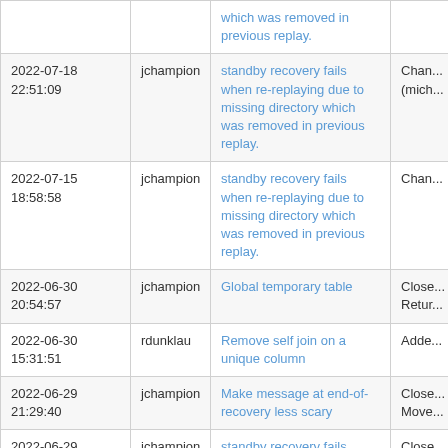| Date | User | Description | Action |
| --- | --- | --- | --- |
|  |  | which was removed in previous replay. |  |
| 2022-07-18 22:51:09 | jchampion | standby recovery fails when re-replaying due to missing directory which was removed in previous replay. | Chan... (mich... |
| 2022-07-15 18:58:58 | jchampion | standby recovery fails when re-replaying due to missing directory which was removed in previous replay. | Chan... |
| 2022-06-30 20:54:57 | jchampion | Global temporary table | Close... Retur... |
| 2022-06-30 15:31:51 | rdunklau | Remove self join on a unique column | Adde... |
| 2022-06-29 21:29:40 | jchampion | Make message at end-of-recovery less scary | Close... Move... |
| 2022-06-29 21:25:41 | jchampion | standby recovery fails | Close... |